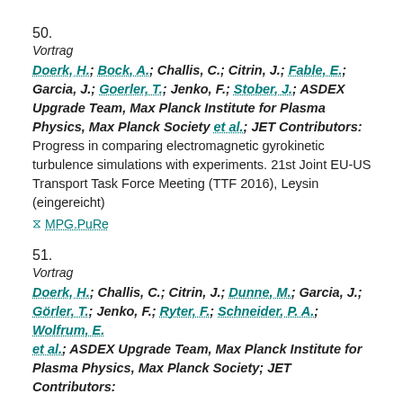50.
Vortrag
Doerk, H.; Bock, A.; Challis, C.; Citrin, J.; Fable, E.; Garcia, J.; Goerler, T.; Jenko, F.; Stober, J.; ASDEX Upgrade Team, Max Planck Institute for Plasma Physics, Max Planck Society et al.; JET Contributors: Progress in comparing electromagnetic gyrokinetic turbulence simulations with experiments. 21st Joint EU-US Transport Task Force Meeting (TTF 2016), Leysin (eingereicht)
MPG.PuRe
51.
Vortrag
Doerk, H.; Challis, C.; Citrin, J.; Dunne, M.; Garcia, J.; Görler, T.; Jenko, F.; Ryter, F.; Schneider, P. A.; Wolfrum, E. et al.; ASDEX Upgrade Team, Max Planck Institute for Plasma Physics, Max Planck Society; JET Contributors: